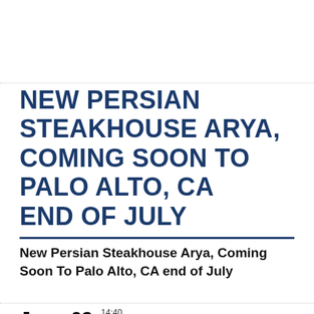NEW PERSIAN STEAKHOUSE ARYA, COMING SOON TO PALO ALTO, CA END OF JULY
New Persian Steakhouse Arya, Coming Soon To Palo Alto, CA end of July
June 09   14:40
2022
Arya Steakhouse is set to open in Palo Alto in July.
[Figure (photo): Interior ceiling of a restaurant with recessed lighting and decorative panels]